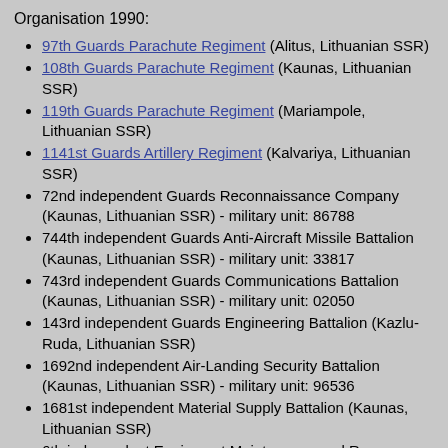Organisation 1990:
97th Guards Parachute Regiment (Alitus, Lithuanian SSR)
108th Guards Parachute Regiment (Kaunas, Lithuanian SSR)
119th Guards Parachute Regiment (Mariampole, Lithuanian SSR)
1141st Guards Artillery Regiment (Kalvariya, Lithuanian SSR)
72nd independent Guards Reconnaissance Company (Kaunas, Lithuanian SSR) - military unit: 86788
744th independent Guards Anti-Aircraft Missile Battalion (Kaunas, Lithuanian SSR) - military unit: 33817
743rd independent Guards Communications Battalion (Kaunas, Lithuanian SSR) - military unit: 02050
143rd independent Guards Engineering Battalion (Kazlu-Ruda, Lithuanian SSR)
1692nd independent Air-Landing Security Battalion (Kaunas, Lithuanian SSR) - military unit: 96536
1681st independent Material Supply Battalion (Kaunas, Lithuanian SSR)
6th independent Equipment Maintenance and Recovery Battalion (Kaunas, Lithuanian SSR) - military unit: 58356
313th independent Medical Battalion (Kaunas, Lithuanian SSR)